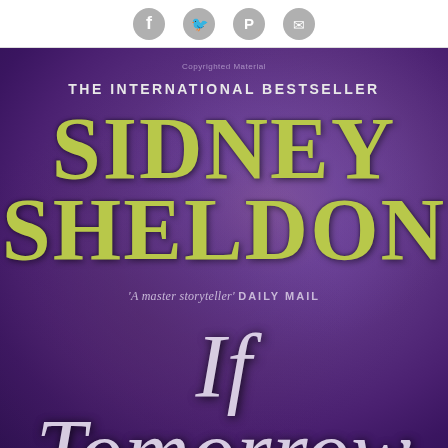[Figure (illustration): Social media sharing icons (Facebook, Twitter, Pinterest, Email) in a white header bar]
[Figure (photo): Book cover of 'If Tomorrow' by Sidney Sheldon on a purple textured background. Text reads: THE INTERNATIONAL BESTSELLER, SIDNEY SHELDON, 'A master storyteller' DAILY MAIL, If Tomorrow]